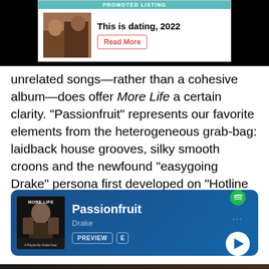[Figure (other): Promoted listing ad banner: 'This is dating, 2022' with Read More button and a couple photo]
unrelated songs—rather than a cohesive album—does offer More Life a certain clarity. "Passionfruit" represents our favorite elements from the heterogeneous grab-bag: laidback house grooves, silky smooth croons and the newfound "easygoing Drake" persona first developed on "Hotline Bling." — Ro Samarth
[Figure (other): Spotify embed widget showing Passionfruit by Drake from More Life album with Preview button, E badge, dots menu, and play button]
[Figure (photo): Dark bottom photo, partially visible at bottom of page]